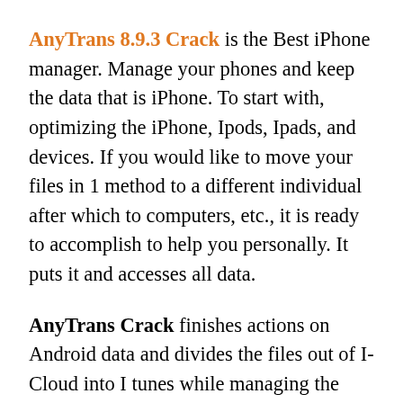AnyTrans 8.9.3 Crack is the Best iPhone manager. Manage your phones and keep the data that is iPhone. To start with, optimizing the iPhone, Ipods, Ipads, and devices. If you would like to move your files in 1 method to a different individual after which to computers, etc., it is ready to accomplish to help you personally. It puts it and accesses all data.
AnyTrans Crack finishes actions on Android data and divides the files out of I-Cloud into I tunes while managing the superclass data following your selection. Because you wish from any computer program, you certainly can do precisely the most useful. The